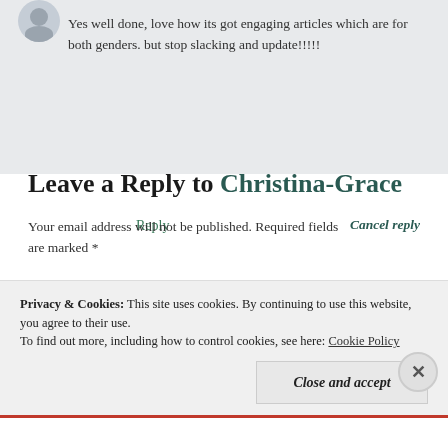Yes well done, love how its got engaging articles which are for both genders. but stop slacking and update!!!!!
Reply
Leave a Reply to Christina-Grace
Your email address will not be published. Required fields are marked *
Cancel reply
Privacy & Cookies: This site uses cookies. By continuing to use this website, you agree to their use.
To find out more, including how to control cookies, see here: Cookie Policy
Close and accept